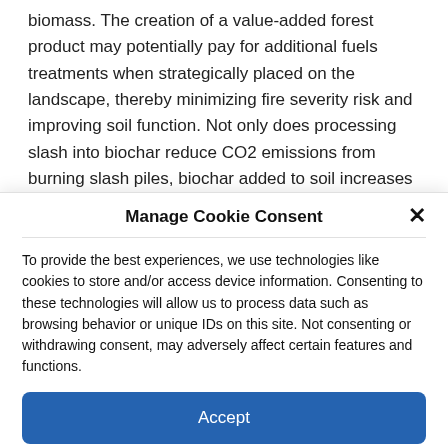biomass. The creation of a value-added forest product may potentially pay for additional fuels treatments when strategically placed on the landscape, thereby minimizing fire severity risk and improving soil function. Not only does processing slash into biochar reduce CO2 emissions from burning slash piles, biochar added to soil increases water storage by 22% in volcanic ash soils (with similar results on other soil types), thereby
Manage Cookie Consent
To provide the best experiences, we use technologies like cookies to store and/or access device information. Consenting to these technologies will allow us to process data such as browsing behavior or unique IDs on this site. Not consenting or withdrawing consent, may adversely affect certain features and functions.
Accept
Cookie Policy   Privacy Statement